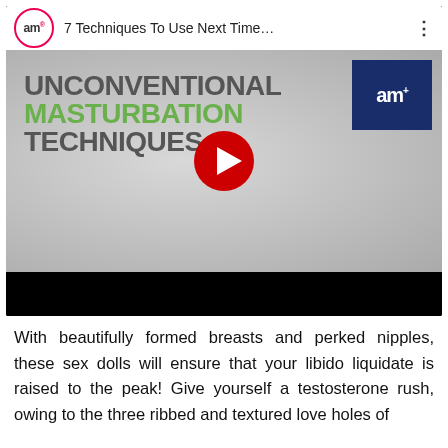[Figure (screenshot): YouTube-style video thumbnail/player showing 'UNCONVENTIONAL MASTURBATION TECHNIQUES' with a red play button in center, 'am+' logo in top-left circle and top-right navy box, video title bar reading '7 Techniques To Use Next Time...']
With beautifully formed breasts and perked nipples, these sex dolls will ensure that your libido liquidate is raised to the peak! Give yourself a testosterone rush, owing to the three ribbed and textured love holes of